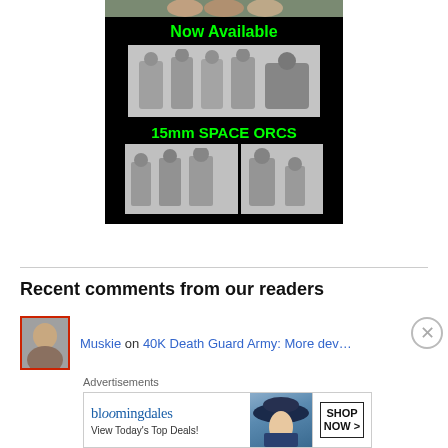[Figure (illustration): Advertisement banner for 15mm Space Orcs miniatures on black background. Shows 'Now Available' in green text, photos of miniature orc figurines in two rows, and '15mm SPACE ORCS' in green text.]
Recent comments from our readers
Muskie on 40K Death Guard Army: More dev…
[Figure (illustration): Bloomingdales advertisement: logo, 'View Today's Top Deals!', model with hat image, and 'SHOP NOW >' button.]